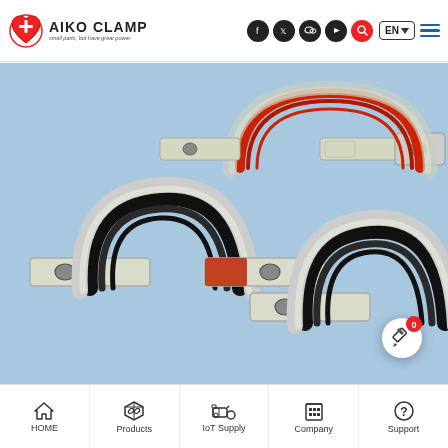AIKO CLAMP — small parts, but have great power
[Figure (photo): Three metal P-type cable clamps with rubber lining (two with black EPDM rubber, one with red rubber) displayed on a blue background. The clamps are stainless steel with mounting holes on the flat tabs.]
HOME | Products | IoT Supply | Company | Support